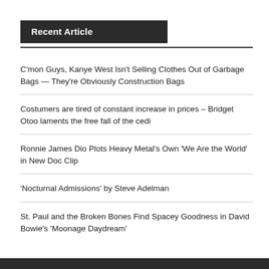Recent Article
C'mon Guys, Kanye West Isn't Selling Clothes Out of Garbage Bags — They're Obviously Construction Bags
Costumers are tired of constant increase in prices – Bridget Otoo laments the free fall of the cedi
Ronnie James Dio Plots Heavy Metal's Own 'We Are the World' in New Doc Clip
'Nocturnal Admissions' by Steve Adelman
St. Paul and the Broken Bones Find Spacey Goodness in David Bowie's 'Moonage Daydream'